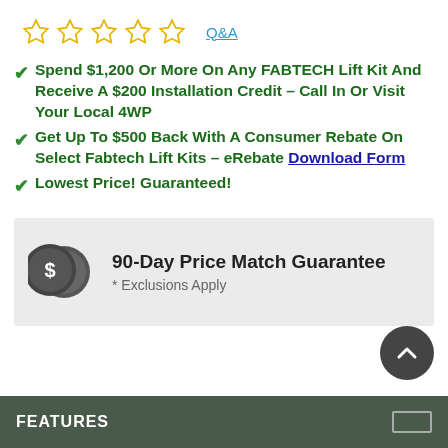[Figure (other): Five empty star rating icons in gold outline, followed by a Q&A link in blue]
Spend $1,200 Or More On Any FABTECH Lift Kit And Receive A $200 Installation Credit – Call In Or Visit Your Local 4WP
Get Up To $500 Back With A Consumer Rebate On Select Fabtech Lift Kits – eRebate Download Form
Lowest Price! Guaranteed!
[Figure (infographic): 90-Day Price Match Guarantee banner with two overlapping coin icons and text '* Exclusions Apply']
[Figure (other): Scroll-to-top circular button with upward chevron icon]
FEATURES